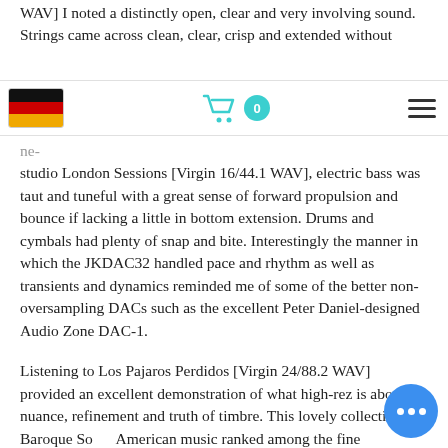WAV] I noted a distinctly open, clear and very involving sound. Strings came across clean, clear, crisp and extended without
[Figure (screenshot): Navigation bar with German flag icon on left, shopping cart icon with cyan badge showing '0' in center, and hamburger menu icon on right]
ne- studio London Sessions [Virgin 16/44.1 WAV], electric bass was taut and tuneful with a great sense of forward propulsion and bounce if lacking a little in bottom extension. Drums and cymbals had plenty of snap and bite. Interestingly the manner in which the JKDAC32 handled pace and rhythm as well as transients and dynamics reminded me of some of the better non-oversampling DACs such as the excellent Peter Daniel-designed Audio Zone DAC-1.
Listening to Los Pajaros Perdidos [Virgin 24/88.2 WAV] provided an excellent demonstration of what high-rez is about - nuance, refinement and truth of timbre. This lovely collection of Baroque South American music ranked among the finer
[Figure (other): Blue circular chat/messaging button with three white dots in the bottom-right corner]